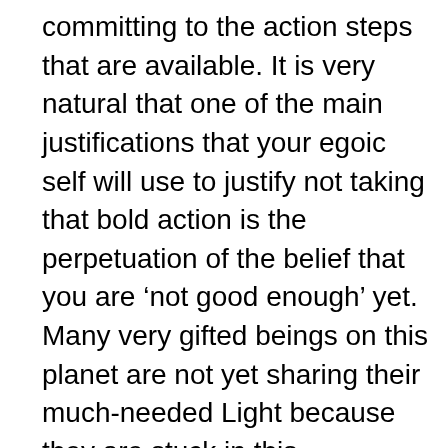committing to the action steps that are available. It is very natural that one of the main justifications that your egoic self will use to justify not taking that bold action is the perpetuation of the belief that you are ‘not good enough’ yet. Many very gifted beings on this planet are not yet sharing their much-needed Light because they are stuck in this syndrome, and instead they keep themselves busy, preparing and training for that mythical day that they will feel ready to start. I know from experience that you will never